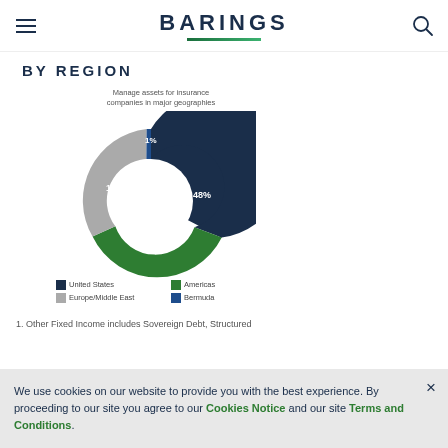BARINGS
BY REGION
[Figure (donut-chart): Manage assets for insurance companies in major geographies]
1. Other Fixed Income includes Sovereign Debt, Structured
We use cookies on our website to provide you with the best experience. By proceeding to our site you agree to our Cookies Notice and our site Terms and Conditions.